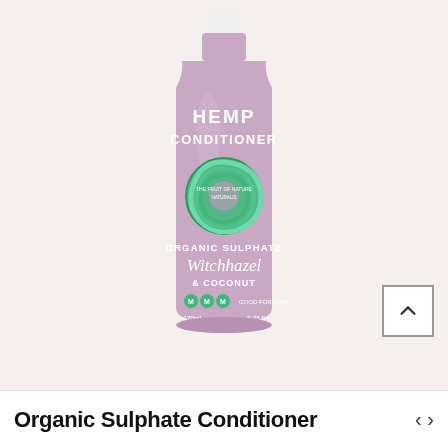[Figure (photo): A pink/mauve bottle of Hemp Conditioner with a white cap. The bottle label reads 'HEMP CONDITIONER' in white text at the top, features a green swirl spiral logo in the center with text 'THE FRUIT OF NATURE NATURALIS', and below reads 'ORGANIC SULPHATE Witchhazel & COCONUT' with green badge icons at the bottom. Displayed on a light cream background.]
Organic Sulphate Conditioner